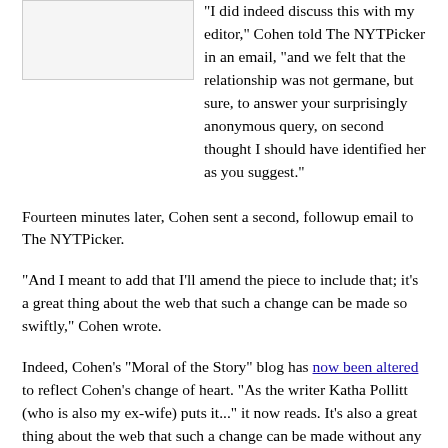[Figure (photo): Blank/placeholder image box in upper left]
"I did indeed discuss this with my editor," Cohen told The NYTPicker in an email, "and we felt that the relationship was not germane, but sure, to answer your surprisingly anonymous query, on second thought I should have identified her as you suggest."
Fourteen minutes later, Cohen sent a second, followup email to The NYTPicker.
"And I meant to add that I'll amend the piece to include that; it's a great thing about the web that such a change can be made so swiftly," Cohen wrote.
Indeed, Cohen's "Moral of the Story" blog has now been altered to reflect Cohen's change of heart. "As the writer Katha Pollitt (who is also my ex-wife) puts it..." it now reads. It's also a great thing about the web that such a change can be made without any mention by Cohen on his blog that he altered it.
EARLIER: EXCLUSIVE: Today In NYT Laziness, Ethicist...